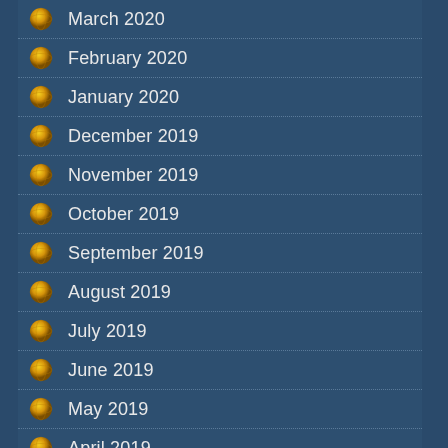March 2020
February 2020
January 2020
December 2019
November 2019
October 2019
September 2019
August 2019
July 2019
June 2019
May 2019
April 2019
March 2019
February 2019
January 2019